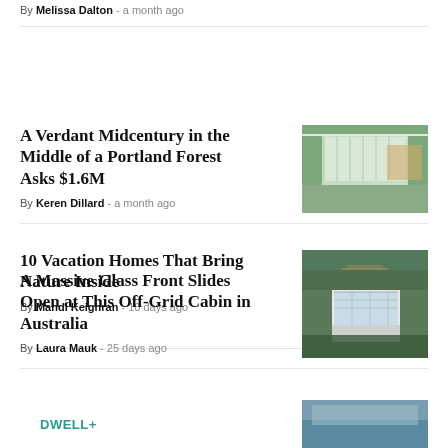By Melissa Dalton - a month ago
A Verdant Midcentury in the Middle of a Portland Forest Asks $1.6M
[Figure (photo): Exterior view of a midcentury modern home with white pergola structure surrounded by trees]
By Keren Dillard - a month ago
10 Vacation Homes That Bring Nature Inside
[Figure (photo): A treehouse-style cabin elevated among dense trees in a forest]
By Mandi Keighran - 10 days ago
A Massive Glass Front Slides Open at This Off-Grid Cabin in Australia
[Figure (photo): A modern off-grid cabin with large glass front facade nestled among Australian bushland]
By Laura Mauk - 25 days ago
DWELL+
[Figure (photo): Partial view of another article image at the bottom of the page]